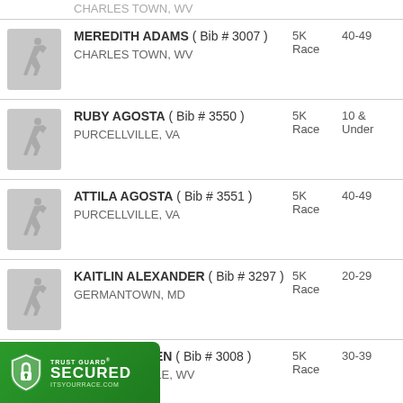CHARLES TOWN, WV
MEREDITH ADAMS ( Bib # 3007 ) CHARLES TOWN, WV | 5K Race | 40-49
RUBY AGOSTA ( Bib # 3550 ) PURCELLVILLE, VA | 5K Race | 10 & Under
ATTILA AGOSTA ( Bib # 3551 ) PURCELLVILLE, VA | 5K Race | 40-49
KAITLIN ALEXANDER ( Bib # 3297 ) GERMANTOWN, MD | 5K Race | 20-29
JESSICA ALLEN ( Bib # 3008 ) KEARNEYSVILLE, WV | 5K Race | 30-39
N ALLEN ( Bib ... ) | 5K Race | 70+
[Figure (logo): Trust Guard Secured badge - green shield with lock icon, text TRUST GUARD SECURED ITSYOURRACE.COM]